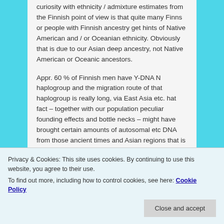curiosity with ethnicity / admixture estimates from the Finnish point of view is that quite many Finns or people with Finnish ancestry get hints of Native American and / or Oceanian ethnicity. Obviously that is due to our Asian deep ancestry, not Native American or Oceanic ancestors.
Appr. 60 % of Finnish men have Y-DNA N haplogroup and the migration route of that haplogroup is really long, via East Asia etc. hat fact – together with our population peculiar founding effects and bottle necks – might have brought certain amounts of autosomal etc DNA from those ancient times and Asian regions that is still visible in our DNA as well. That means Native
Privacy & Cookies: This site uses cookies. By continuing to use this website, you agree to their use.
To find out more, including how to control cookies, see here: Cookie Policy